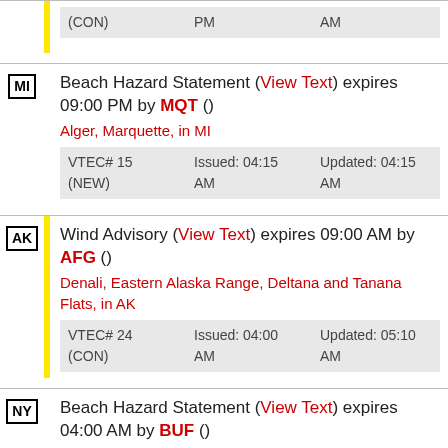| State | Bar | Content |
| --- | --- | --- |
| (CON) |  | PM | AM |
| MI |  | Beach Hazard Statement (View Text) expires 09:00 PM by MQT ()
Alger, Marquette, in MI
VTEC# 15 (NEW) | Issued: 04:15 AM | Updated: 04:15 AM |
| AK | yellow | Wind Advisory (View Text) expires 09:00 AM by AFG ()
Denali, Eastern Alaska Range, Deltana and Tanana Flats, in AK
VTEC# 24 (CON) | Issued: 04:00 AM | Updated: 05:10 AM |
| NY |  | Beach Hazard Statement (View Text) expires 04:00 AM by BUF ()
Northern Erie, Jefferson, Southern Erie, |